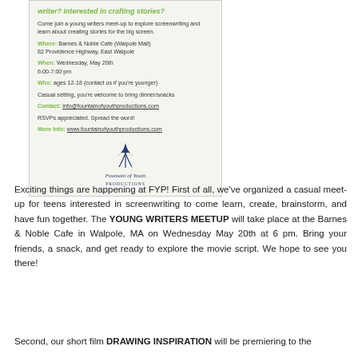[Figure (infographic): A flyer on lined paper background for a Young Writers Meetup by Fountain of Youth Productions. Contains event details including location at Barnes & Noble Cafe (Walpole Mall), date Wednesday May 20th, time 6:00-7:00 pm, audience ages 12-18, contact info@fountainofyouthproductions.com, and website www.fountainofyouthproductions.com. Includes Fountain of Youth Productions logo.]
Exciting things are happening at FYP! First of all, we've organized a casual meet-up for teens interested in screenwriting to come learn, create, brainstorm, and have fun together. The YOUNG WRITERS MEETUP will take place at the Barnes & Noble Cafe in Walpole, MA on Wednesday May 20th at 6 pm. Bring your friends, a snack, and get ready to explore the movie script. We hope to see you there!
Second, our short film DRAWING INSPIRATION will be premiering to the